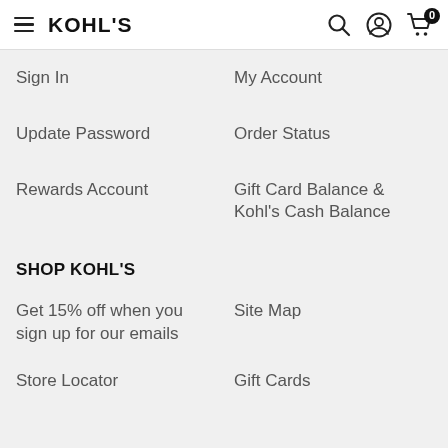KOHL'S
Sign In
My Account
Update Password
Order Status
Rewards Account
Gift Card Balance & Kohl's Cash Balance
SHOP KOHL'S
Get 15% off when you sign up for our emails
Site Map
Store Locator
Gift Cards